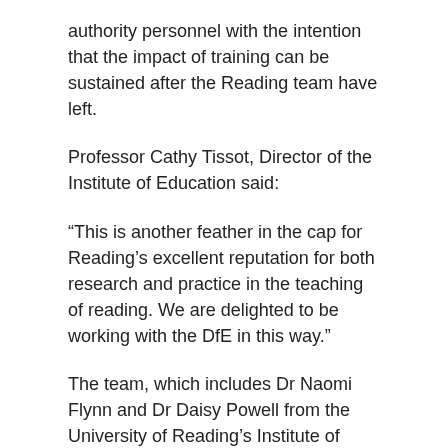authority personnel with the intention that the impact of training can be sustained after the Reading team have left.
Professor Cathy Tissot, Director of the Institute of Education said:
“This is another feather in the cap for Reading’s excellent reputation for both research and practice in the teaching of reading. We are delighted to be working with the DfE in this way.”
The team, which includes Dr Naomi Flynn and Dr Daisy Powell from the University of Reading’s Institute of Education and Professor Morag Stuart from UCL’s Institute of Education will be following up with schools who have attended the roadshows during the next academic year to check their performance and what